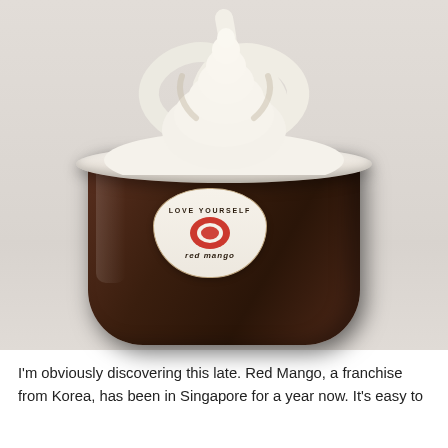[Figure (photo): A cup of white frozen yogurt swirl from Red Mango, a franchise from Korea. The dark brown cup has a logo badge reading 'LOVE YOURSELF red mango' with a red oval logo. The cup sits on a white surface.]
I'm obviously discovering this late. Red Mango, a franchise from Korea, has been in Singapore for a year now. It's easy to